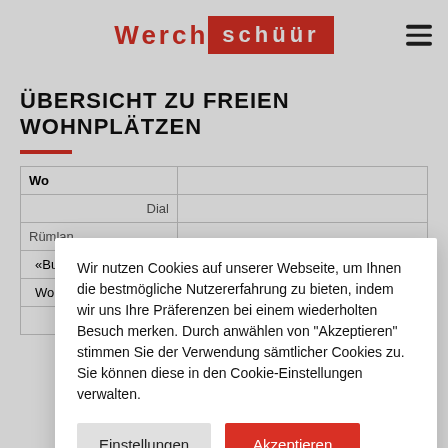Werch schüür
ÜBERSICHT ZU FREIEN WOHNPLÄTZEN
| Wo |  |
| --- | --- |
| Dial |  |
| Rümlan |  |
| «Bue |  |
| Woh |  |
| Studio |  |
Wir nutzen Cookies auf unserer Webseite, um Ihnen die bestmögliche Nutzererfahrung zu bieten, indem wir uns Ihre Präferenzen bei einem wiederholten Besuch merken. Durch anwählen von "Akzeptieren" stimmen Sie der Verwendung sämtlicher Cookies zu. Sie können diese in den Cookie-Einstellungen verwalten.
Einstellungen
Akzeptieren